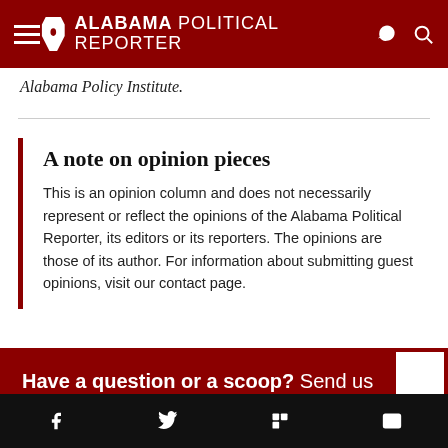ALABAMA POLITICAL REPORTER
Alabama Policy Institute.
A note on opinion pieces
This is an opinion column and does not necessarily represent or reflect the opinions of the Alabama Political Reporter, its editors or its reporters. The opinions are those of its author. For information about submitting guest opinions, visit our contact page.
Have a question or a scoop? Send us a tip. We'll track it down.